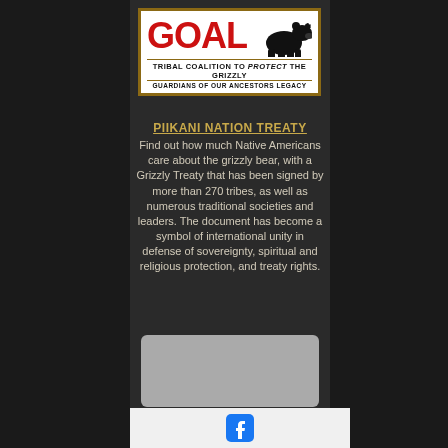[Figure (logo): GOAL Tribal Coalition to Protect the Grizzly — Guardians of Our Ancestors Legacy logo with bear silhouette]
PIIKANI NATION TREATY
Find out how much Native Americans care about the grizzly bear, with a Grizzly Treaty that has been signed by more than 270 tribes, as well as numerous traditional societies and leaders. The document has become a symbol of international unity in defense of sovereignty, spiritual and religious protection, and treaty rights.
[Figure (other): Gray placeholder image box]